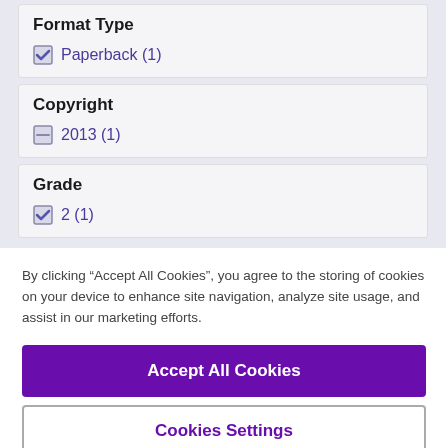Format Type
Paperback (1)
Copyright
2013 (1)
Grade
2 (1)
By clicking “Accept All Cookies”, you agree to the storing of cookies on your device to enhance site navigation, analyze site usage, and assist in our marketing efforts.
Accept All Cookies
Cookies Settings